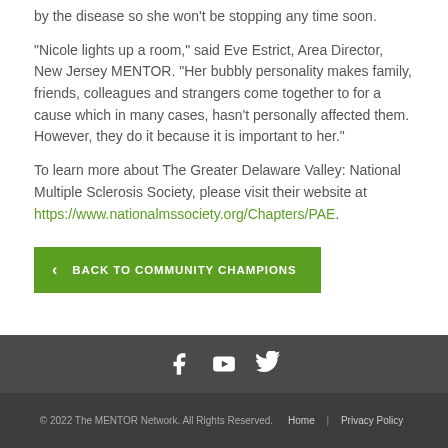by the disease so she won't be stopping any time soon.
“Nicole lights up a room,” said Eve Estrict, Area Director, New Jersey MENTOR. “Her bubbly personality makes family, friends, colleagues and strangers come together to for a cause which in many cases, hasn’t personally affected them. However, they do it because it is important to her.”
To learn more about The Greater Delaware Valley: National Multiple Sclerosis Society, please visit their website at https://www.nationalmssociety.org/Chapters/PAE.
BACK TO COMMUNITY CHAMPIONS
© 2022 The MENTOR Network. All Rights Reserved. Home | Privacy Policy